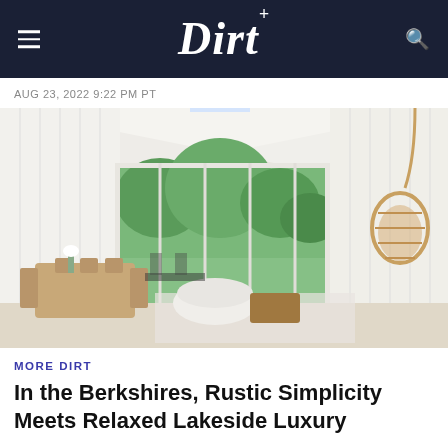Dirt
AUG 23, 2022 9:22 PM PT
[Figure (photo): Bright, airy open-plan living and dining room with high white vaulted ceilings, floor-to-ceiling windows overlooking greenery, white curved sofas, wooden dining table with leather chairs, and a hanging rattan chair on the right.]
MORE DIRT
In the Berkshires, Rustic Simplicity Meets Relaxed Lakeside Luxury